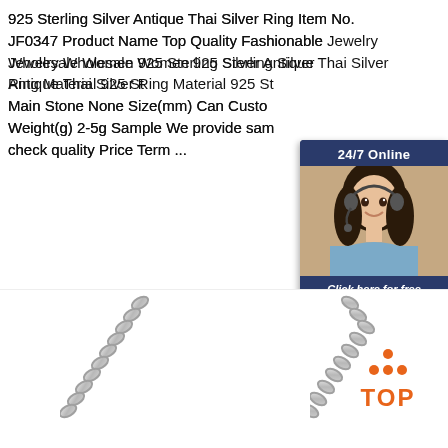925 Sterling Silver Antique Thai Silver Ring Item No. JF0347 Product Name Top Quality Fashionable Jewelry Wholesale Women 925 Sterling Silver Antique Thai Silver Ring Material 925 Sterling Silver Main Stone None Size(mm) Can Customize Weight(g) 2-5g Sample We provide samples to check quality Price Term ...
[Figure (other): Customer service chat widget with a woman wearing a headset, '24/7 Online' header, 'Click here for free chat!' text, and an orange QUOTATION button]
Get Price
[Figure (photo): Silver chain necklace links photographed on white background, two chain segments visible]
[Figure (logo): TOP logo badge with orange dots arranged in a triangle above the word TOP]